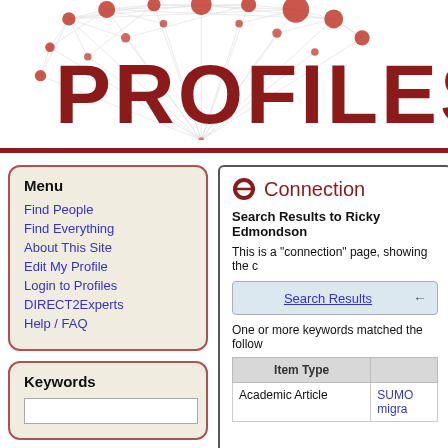[Figure (logo): PROFILES application logo with network diagram (Ferris wheel-like graph with red nodes) and large dark red text 'PROFILES']
Menu
Find People
Find Everything
About This Site
Edit My Profile
Login to Profiles
DIRECT2Experts
Help / FAQ
Keywords
Connection
Search Results to Ricky Edmondson
This is a "connection" page, showing the c
Search Results
One or more keywords matched the follow
| Item Type |  |
| --- | --- |
| Academic Article | SUMO migra |